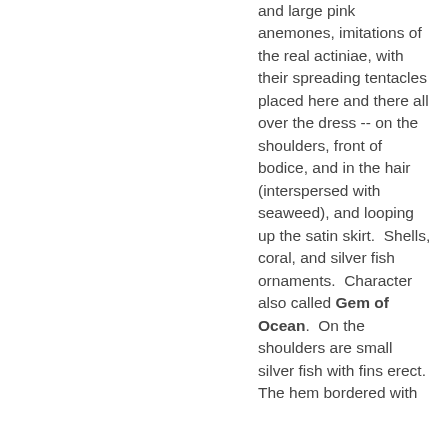and large pink anemones, imitations of the real actiniae, with their spreading tentacles placed here and there all over the dress -- on the shoulders, front of bodice, and in the hair (interspersed with seaweed), and looping up the satin skirt.  Shells, coral, and silver fish ornaments.  Character also called Gem of Ocean.  On the shoulders are small silver fish with fins erect.  The hem bordered with